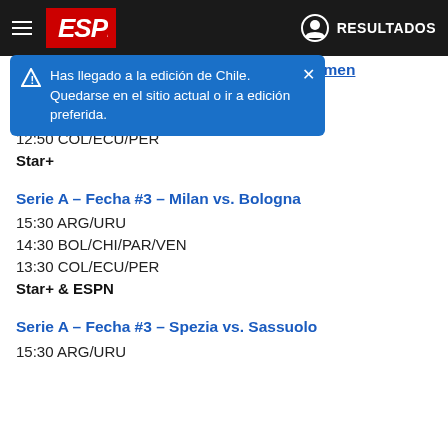[Figure (screenshot): ESPN app header bar with hamburger menu, ESPN logo on red background, user account icon and RESULTADOS text on dark background]
Has llegado a la edición de Chile. Quedarse en el sitio actual o ir a edición preferida.
Eredivisie – Fecha #4 – Feyenoord vs. Emmen
14:50 ARG/URU
13:50 BOL/CHI/PAR/VEN
12:50 COL/ECU/PER
Star+
Serie A – Fecha #3 – Milan vs. Bologna
15:30 ARG/URU
14:30 BOL/CHI/PAR/VEN
13:30 COL/ECU/PER
Star+ & ESPN
Serie A – Fecha #3 – Spezia vs. Sassuolo
15:30 ARG/URU